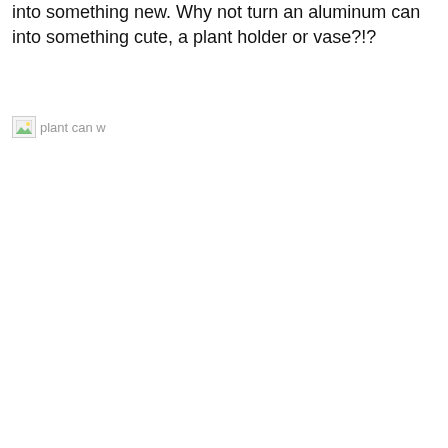into something new. Why not turn an aluminum can into something cute, a plant holder or vase?!?
[Figure (photo): Broken/missing image placeholder labeled 'plant can w']